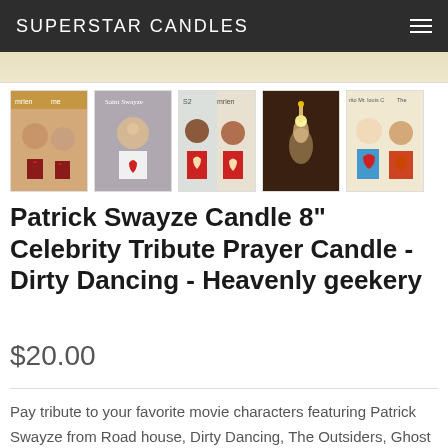SUPERSTAR CANDLES
[Figure (photo): Five thumbnail product photos of celebrity prayer candles styled as saint candles, showing Patrick Swayze and other figures]
Patrick Swayze Candle 8" Celebrity Tribute Prayer Candle - Dirty Dancing - Heavenly geekery
$20.00
Pay tribute to your favorite movie characters featuring Patrick Swayze from Road house, Dirty Dancing, The Outsiders, Ghost to name a few , this is a burning tribute for